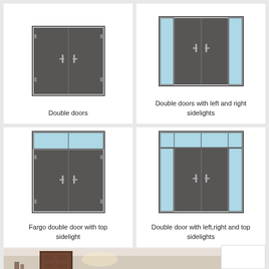[Figure (illustration): Double doors illustration - two dark grey door panels side by side]
Double doors
[Figure (illustration): Double doors with left and right sidelights - two dark grey door panels with light blue sidelight panels on each side]
Double doors with left and right sidelights
[Figure (illustration): Fargo double door with top sidelight - two dark grey door panels with a light blue transom panel above]
Fargo double door with top sidelight
[Figure (illustration): Double door with left, right and top sidelights - two dark grey door panels with light blue sidelight panels on sides and top transom]
Double door with left,right and top sidelights
[Figure (photo): Partial photo of a room interior with a dark wooden door visible]